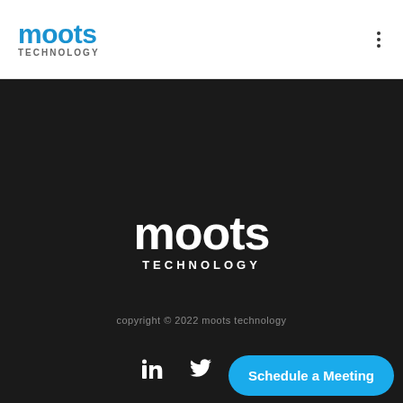[Figure (logo): Moots Technology logo in blue with 'moots' in bold blue and 'TECHNOLOGY' in small caps grey below]
[Figure (logo): Moots Technology logo in white on dark background, large centered footer logo]
copyright © 2022 moots technology
[Figure (infographic): Social media icons: LinkedIn, Twitter, GitHub in white]
about / cloud engineering / digital transformation / Ted / Toldu / contact / data privacy / terms of service
Schedule a Meeting